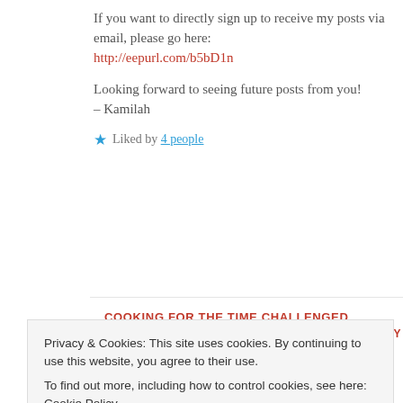If you want to directly sign up to receive my posts via email, please go here: http://eepurl.com/b5bD1n
Looking forward to seeing future posts from you! – Kamilah
★ Liked by 4 people
COOKING FOR THE TIME CHALLENGED
June 13, 2016 at 10:09 PM
LOG IN TO REPLY
Privacy & Cookies: This site uses cookies. By continuing to use this website, you agree to their use. To find out more, including how to control cookies, see here: Cookie Policy
Close and accept